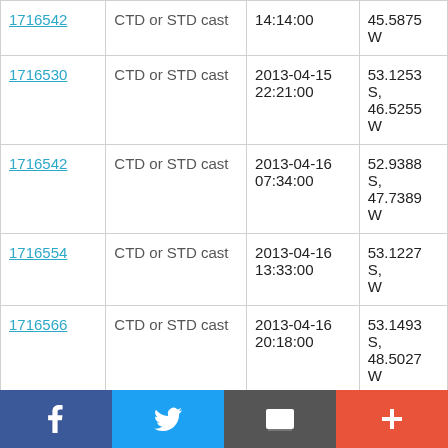| ID | Type | Date/Time | Coordinates |
| --- | --- | --- | --- |
| 1716542 (partial) | CTD or STD cast | 2013-04-15 14:14:00 | 45.5875 W (partial) |
| 1716530 | CTD or STD cast | 2013-04-15 22:21:00 | 53.1253 S, 46.5255 W |
| 1716542 | CTD or STD cast | 2013-04-16 07:34:00 | 52.9388 S, 47.7389 W |
| 1716554 | CTD or STD cast | 2013-04-16 13:33:00 | 53.1227 S, W |
| 1716566 | CTD or STD cast | 2013-04-16 20:18:00 | 53.1493 S, 48.5027 W |
| 1716578 | CTD or STD cast | 2013-04-17 05:44:00 | 53.3481 S, W |
| 1716591 | CTD or STD cast | 2013-04-17 11:03:00 | 53.3806 S, 49.456 W |
Facebook | Twitter | Email | Plus